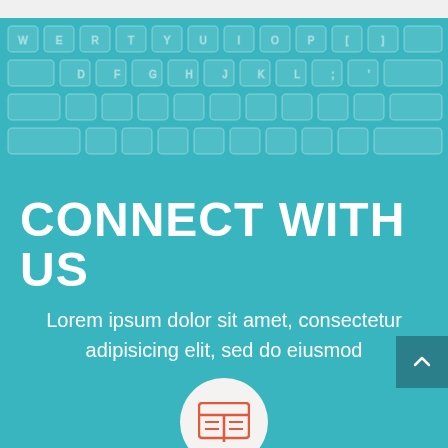[Figure (illustration): Teal/turquoise background with keyboard keys pattern overlay (semi-transparent), showing a computer keyboard backdrop]
CONNECT WITH US
Lorem ipsum dolor sit amet, consectetur adipisicing elit, sed do eiusmod
[Figure (illustration): Dark teal back-to-top button with upward chevron arrow in bottom right corner]
[Figure (illustration): Light beige/off-white circle with orange/red table/list icon (resembling a presentation or contact card icon) centered at bottom of page]